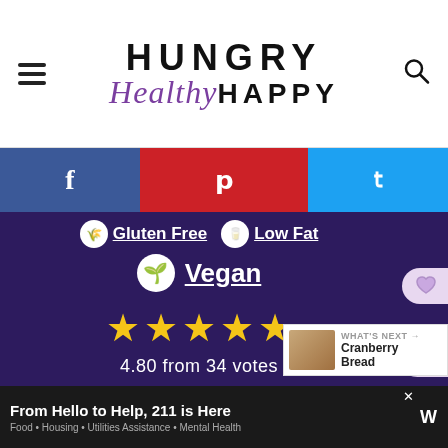[Figure (screenshot): Website header for Hungry Healthy Happy food blog with logo, hamburger menu, and search icon]
[Figure (screenshot): Social share bar with Facebook, Pinterest, and Twitter buttons]
Gluten Free  Low Fat
Vegan
★★★★★ 4.80 from 34 votes
Author: Dannii
Pin  Print
2.2K
WHAT'S NEXT → Cranberry Bread
From Hello to Help, 211 is Here  Food • Housing • Utilities Assistance • Mental Health